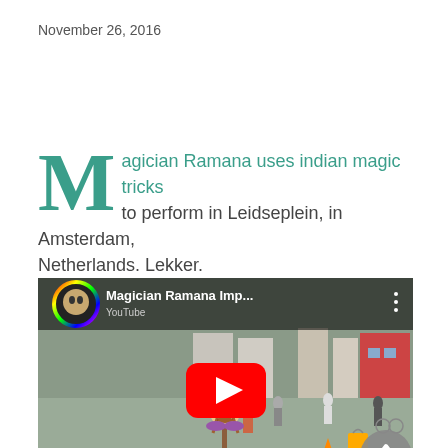November 26, 2016
Magician Ramana uses indian magic tricks to perform in Leidseplein, in Amsterdam, Netherlands. Lekker.
[Figure (screenshot): YouTube video thumbnail showing Magician Ramana performing a levitation magic act at Leidseplein, Amsterdam. A man appears to levitate cross-legged. Text overlay reads 'LEVITATION MAGIC'. YouTube play button is visible. Video title: 'Magician Ramana Imp...']